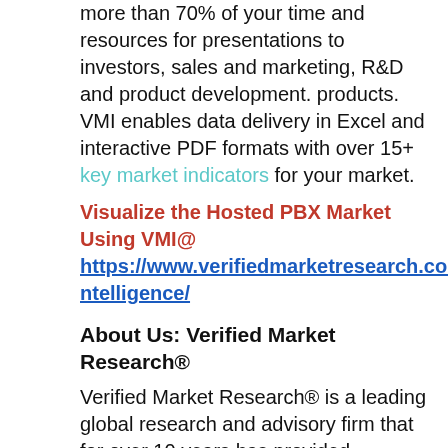more than 70% of your time and resources for presentations to investors, sales and marketing, R&D and product development. products. VMI enables data delivery in Excel and interactive PDF formats with over 15+ key market indicators for your market.
Visualize the Hosted PBX Market Using VMI@ https://www.verifiedmarketresearch.com/vmintelligence/
About Us: Verified Market Research®
Verified Market Research® is a leading global research and advisory firm that for over 10 years has provided advanced analytical research solutions, personalized advice and in-depth data analysis to individuals and businesses seeking